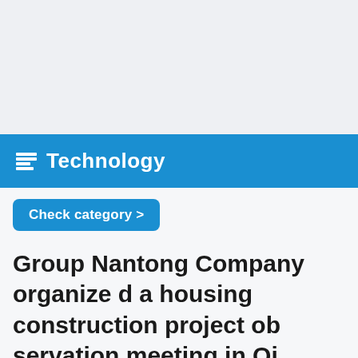[Figure (other): Gray placeholder image area at top of page]
Technology
Check category >
Group Nantong Company organized a housing construction project observation meeting in Qi
Top
(Summary description)
Categories:Scientific and technological achievements